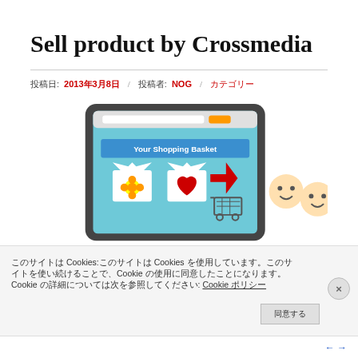Sell product by Crossmedia
投稿日: 2013年3月8日 / 投稿者: NOG / カテゴリー
[Figure (illustration): Illustration of a tablet/screen showing 'Your Shopping Basket' with cartoon t-shirts and a shopping cart icon, and two cartoon character faces beside it]
このサイトはCookies:このサイトは Cookies を使用しています。このサイトを使い続けることで、Cookie の使用に同意したことになります。Cookie の詳細については次を参照してください: Cookie ポリシー
同意する